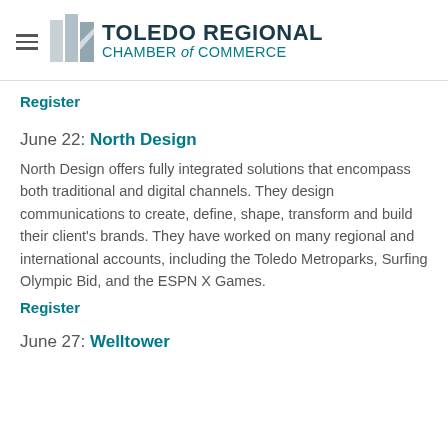TOLEDO REGIONAL CHAMBER of COMMERCE
Register
June 22: North Design
North Design offers fully integrated solutions that encompass both traditional and digital channels. They design communications to create, define, shape, transform and build their client's brands. They have worked on many regional and  international accounts, including the Toledo Metroparks, Surfing Olympic Bid, and the ESPN X Games.
Register
June 27: Welltower